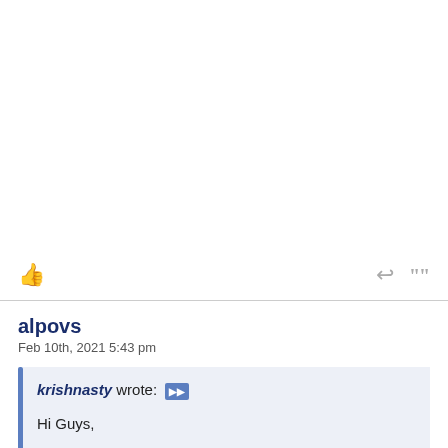[Figure (other): White empty top area of a forum page]
[Figure (other): Forum action bar with thumbs up icon on the left, reply and quote icons on the right]
alpovs
Feb 10th, 2021 5:43 pm
krishnasty wrote: Hi Guys,

I have a 5 year old Acer laptop lying around which I hardly use. The biggest reason why i dont use this one is its slow. I have removed majority of software in it (MS Office, etc) and its basically a stripped down Windows 10 machine.
I was wondering if downgrading the OS might make the system better. I am thinking of installing and running